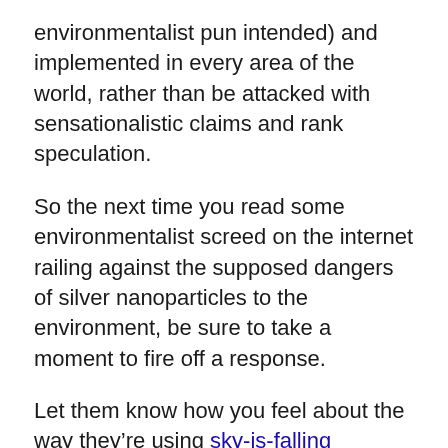environmentalist pun intended) and implemented in every area of the world, rather than be attacked with sensationalistic claims and rank speculation.
So the next time you read some environmentalist screed on the internet railing against the supposed dangers of silver nanoparticles to the environment, be sure to take a moment to fire off a response.
Let them know how you feel about the way they’re using sky-is-falling sensationalism and rank speculation to prevent families like yours from enjoying the protective and potentially life-saving benefits of safe, natural silver nanoparticles in commercial products.
You might even want to explain that you recognize the very real and present danger involved in the growing